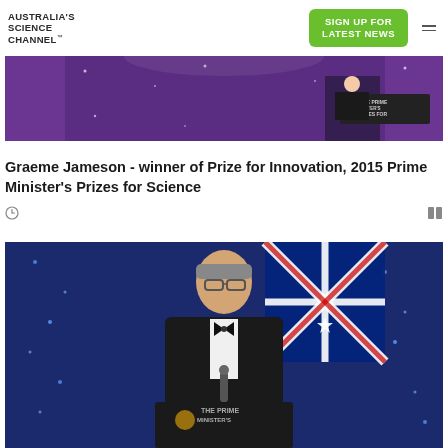AUSTRALIA'S SCIENCE CHANNEL™
[Figure (photo): Top banner photo of Prime Minister's Prizes for Science event — a person at a podium with purple and sparkle curtain backdrop, sign reading 'THE PRIME MINISTER'S PRIZES FOR']
Graeme Jameson - winner of Prize for Innovation, 2015 Prime Minister's Prizes for Science
[Figure (photo): Photo of Graeme Jameson speaking at a podium at The Prime Minister's Prizes for Science ceremony, wearing a tuxedo with bow tie, Australian flag in background with blue sparkle curtain]